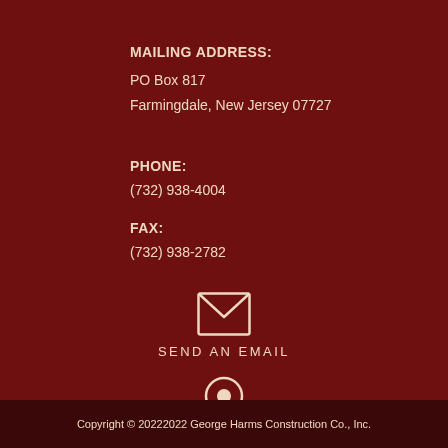MAILING ADDRESS:
PO Box 817
Farmingdale, New Jersey 07727
PHONE:
(732) 938-4004
FAX:
(732) 938-2782
[Figure (illustration): Envelope icon representing email contact]
SEND AN EMAIL
[Figure (illustration): Map pin / location marker icon]
VISIT OUR CORPORATE OFFICE
Copyright © 20222022 George Harms Construction Co., Inc.